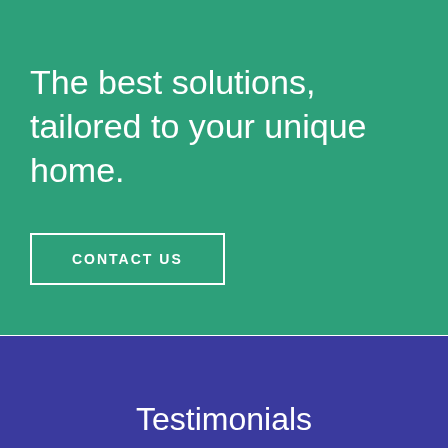The best solutions, tailored to your unique home.
CONTACT US
Testimonials